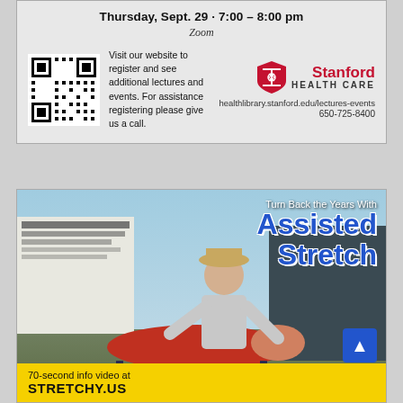Thursday, Sept. 29 · 7:00 – 8:00 pm
Zoom
Visit our website to register and see additional lectures and events. For assistance registering please give us a call.
[Figure (logo): Stanford Health Care logo with shield emblem, text 'Stanford HEALTH CARE', URL healthlibrary.stanford.edu/lectures-events, phone 650-725-8400]
[Figure (photo): Advertisement for Assisted Stretch showing a practitioner helping a person lying on a massage table do a stretch outdoors near a golf club fitting sign. Text overlay: 'Turn Back the Years With Assisted Stretch'. Bottom bar: '70-second info video at STRETCHY.US']